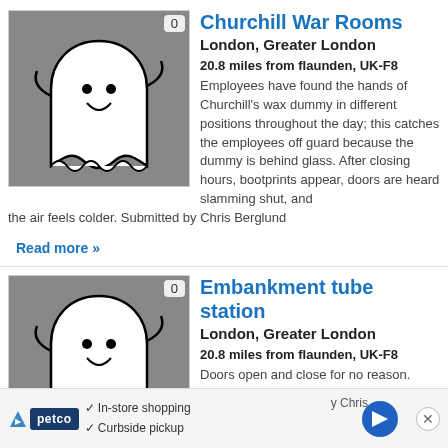[Figure (illustration): Ghost cartoon image with a smiling ghost on grey background, badge showing '0']
Churchill War Rooms
London, Greater London
20.8 miles from flaunden, UK-F8
Employees have found the hands of Churchill's wax dummy in different positions throughout the day; this catches the employees off guard because the dummy is behind glass. After closing hours, bootprints appear, doors are heard slamming shut, and the air feels colder. Submitted by Chris Berglund
Read more »
[Figure (illustration): Ghost cartoon image with a smiling ghost on grey background, badge showing '0']
Embankment tube station
London, Greater London
20.8 miles from flaunden, UK-F8
Doors open and close for no reason. Cold spots are also felt around Pages Walk, accompanied by a very eerie and
y Chris